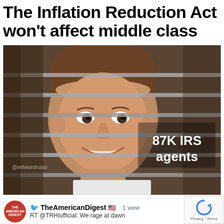The Inflation Reduction Act won't affect middle class
[Figure (photo): A meme image showing a smiling man peering through venetian blinds. Text overlay on the right reads '87K IRS agents'. Watermark '@edwardrussi' in the lower left.]
TheAmericanDigest 🇺🇸   1 wee
RT @TRHIofficial: We rage at dawn